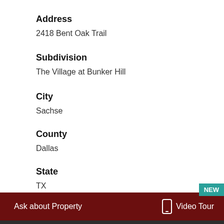Address
2418 Bent Oak Trail
Subdivision
The Village at Bunker Hill
City
Sachse
County
Dallas
State
TX
NEW
Ask about Property
Video Tour
★ ➤ 🖨